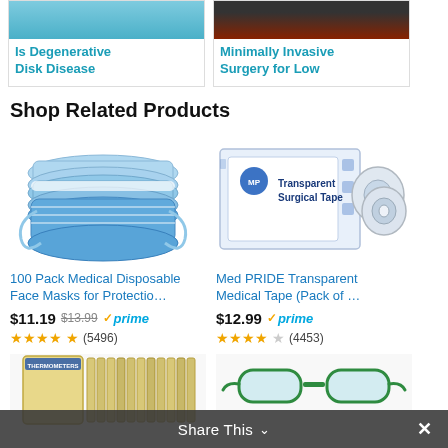[Figure (photo): Article card image for 'Is Degenerative Disk Disease' - blue medical image]
Is Degenerative Disk Disease
[Figure (photo): Article card image for 'Minimally Invasive Surgery for Low' - dark/red medical image]
Minimally Invasive Surgery for Low
Shop Related Products
[Figure (photo): 100 Pack Medical Disposable Face Masks - blue stacked face masks]
100 Pack Medical Disposable Face Masks for Protectio…
$11.19 $13.99 prime (5496)
[Figure (photo): Med PRIDE Transparent Medical Tape box with tape rolls]
Med PRIDE Transparent Medical Tape (Pack of …
$12.99 prime (4453)
[Figure (photo): Partial view of bottom product - appears to be a boxed item]
[Figure (photo): Partial view of bottom product - appears to be green safety glasses]
Share This ×